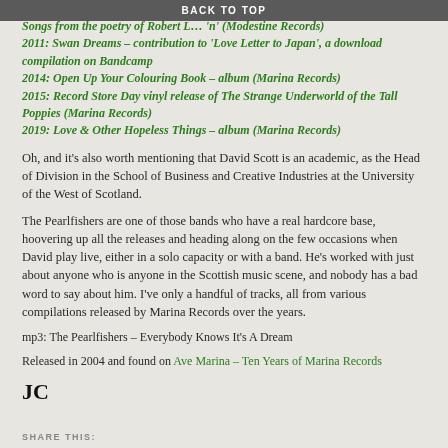BACK TO TOP
Songs from the poetry of Robert L... 'n' (Modestine Records)
2011: Swan Dreams – contribution to 'Love Letter to Japan', a download compilation on Bandcamp
2014: Open Up Your Colouring Book – album (Marina Records)
2015: Record Store Day vinyl release of The Strange Underworld of the Tall Poppies (Marina Records)
2019: Love & Other Hopeless Things – album (Marina Records)
Oh, and it's also worth mentioning that David Scott is an academic, as the Head of Division in the School of Business and Creative Industries at the University of the West of Scotland.
The Pearlfishers are one of those bands who have a real hardcore base, hoovering up all the releases and heading along on the few occasions when David play live, either in a solo capacity or with a band. He's worked with just about anyone who is anyone in the Scottish music scene, and nobody has a bad word to say about him. I've only a handful of tracks, all from various compilations released by Marina Records over the years.
mp3: The Pearlfishers – Everybody Knows It's A Dream
Released in 2004 and found on Ave Marina – Ten Years of Marina Records
JC
SHARE THIS: